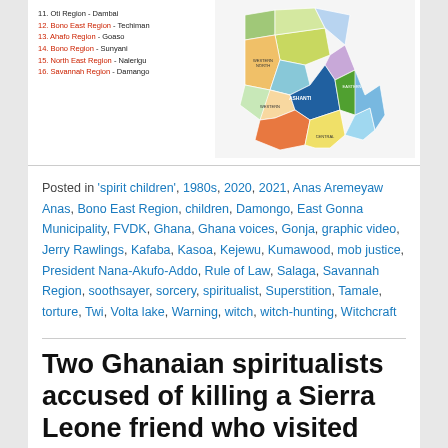[Figure (map): Map of Ghana showing 16 regions with a numbered list on the left side. Regions 11-16 are listed: 11. Oti Region - Dambai, 12. Bono East Region - Techiman, 13. Ahafo Region - Goaso, 14. Bono Region - Sunyani, 15. North East Region - Nalerigu, 16. Savannah Region - Damango. The colorful map on the right shows regions including Ashanti, Eastern, Western North, Central, and others.]
Posted in 'spirit children', 1980s, 2020, 2021, Anas Aremeyaw Anas, Bono East Region, children, Damongo, East Gonna Municipality, FVDK, Ghana, Ghana voices, Gonja, graphic video, Jerry Rawlings, Kafaba, Kasoa, Kejewu, Kumawood, mob justice, President Nana-Akufo-Addo, Rule of Law, Salaga, Savannah Region, soothsayer, sorcery, spiritualist, Superstition, Tamale, torture, Twi, Volta lake, Warning, witch, witch-hunting, Witchcraft
Two Ghanaian spiritualists accused of killing a Sierra Leone friend who visited them for money ritual